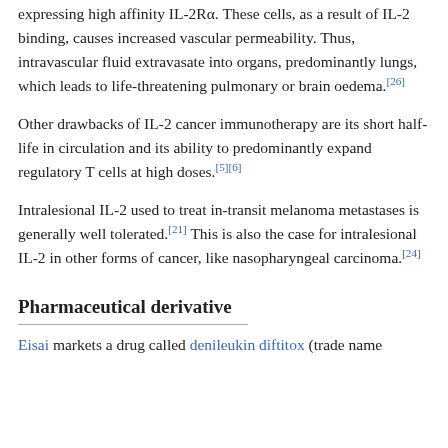expressing high affinity IL-2Rα. These cells, as a result of IL-2 binding, causes increased vascular permeability. Thus, intravascular fluid extravasate into organs, predominantly lungs, which leads to life-threatening pulmonary or brain oedema.[26]
Other drawbacks of IL-2 cancer immunotherapy are its short half-life in circulation and its ability to predominantly expand regulatory T cells at high doses.[5][6]
Intralesional IL-2 used to treat in-transit melanoma metastases is generally well tolerated.[21] This is also the case for intralesional IL-2 in other forms of cancer, like nasopharyngeal carcinoma.[24]
Pharmaceutical derivative
Eisai markets a drug called denileukin diftitox (trade name